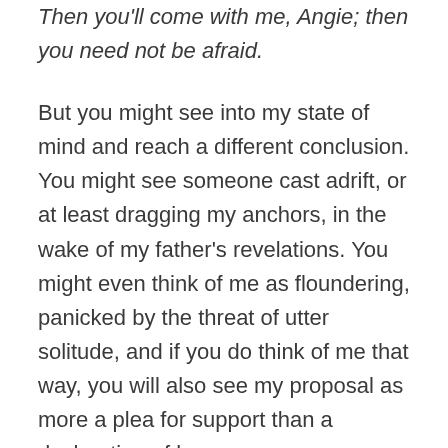Then you'll come with me, Angie; then you need not be afraid.
But you might see into my state of mind and reach a different conclusion.  You might see someone cast adrift, or at least dragging my anchors, in the wake of my father's revelations.  You might even think of me as floundering, panicked by the threat of utter solitude, and if you do think of me that way, you will also see my proposal as more a plea for support than a declaration of love.
Yes, I admit my heart was driven by no small measure of desperation.  The